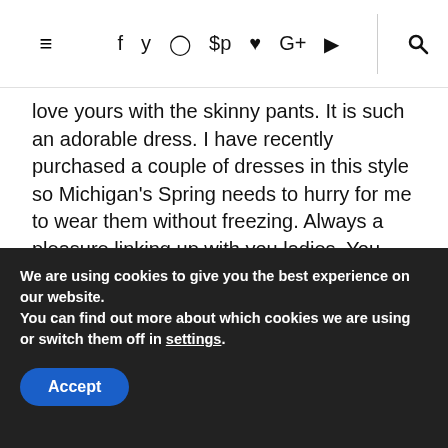≡  f  twitter  instagram  pinterest  ♥  G+  youtube  |  🔍
love yours with the skinny pants. It is such an adorable dress. I have recently purchased a couple of dresses in this style so Michigan's Spring needs to hurry for me to wear them without freezing. Always a pleasure linking up with you ladies. You should link this gorgeous outfit with me today, again.
http://eleganceandmommyhood.blog...
We are using cookies to give you the best experience on our website.
You can find out more about which cookies we are using or switch them off in settings.
Accept